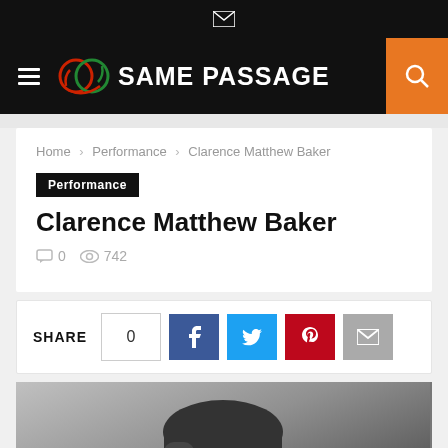SAME PASSAGE
Home > Performance > Clarence Matthew Baker
Performance
Clarence Matthew Baker
0  742
SHARE 0
[Figure (photo): Black and white portrait photo of a man (Clarence Matthew Baker), showing his face and upper body in a close-up shot]